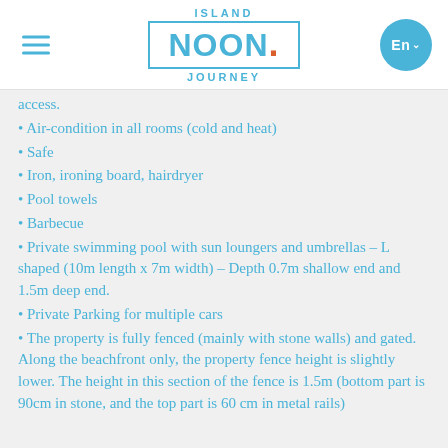[Figure (logo): Island Noon Journey logo with hamburger menu and language selector]
access.
Air-condition in all rooms (cold and heat)
Safe
Iron, ironing board, hairdryer
Pool towels
Barbecue
Private swimming pool with sun loungers and umbrellas – L shaped (10m length x 7m width) – Depth 0.7m shallow end and 1.5m deep end.
Private Parking for multiple cars
The property is fully fenced (mainly with stone walls) and gated. Along the beachfront only, the property fence height is slightly lower. The height in this section of the fence is 1.5m (bottom part is 90cm in stone, and the top part is 60 cm in metal rails)